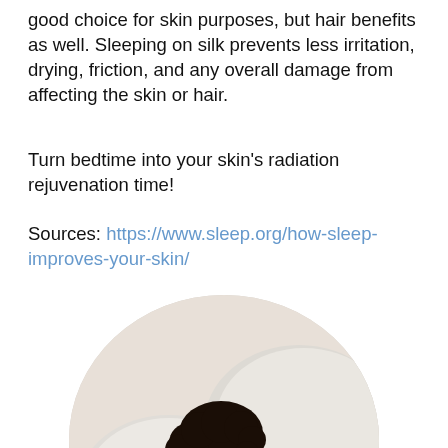good choice for skin purposes, but hair benefits as well. Sleeping on silk prevents less irritation, drying, friction, and any overall damage from affecting the skin or hair.
Turn bedtime into your skin’s radiation rejuvenation time!
Sources: https://www.sleep.org/how-sleep-improves-your-skin/
[Figure (photo): A woman with curly dark hair sleeping on white pillows and bedding, shown in an oval-cropped photo against a white background.]